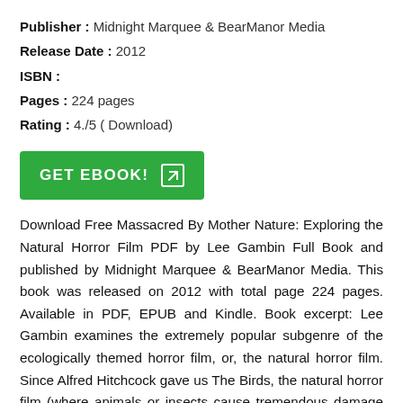Publisher : Midnight Marquee & BearManor Media
Release Date : 2012
ISBN :
Pages : 224 pages
Rating : 4./5 ( Download)
[Figure (other): Green GET EBOOK! button with arrow icon]
Download Free Massacred By Mother Nature: Exploring the Natural Horror Film PDF by Lee Gambin Full Book and published by Midnight Marquee & BearManor Media. This book was released on 2012 with total page 224 pages. Available in PDF, EPUB and Kindle. Book excerpt: Lee Gambin examines the extremely popular subgenre of the ecologically themed horror film, or, the natural horror film. Since Alfred Hitchcock gave us The Birds, the natural horror film (where animals or insects cause tremendous damage to the human population) is a much-loved subgenre, but one seldom referenced. This